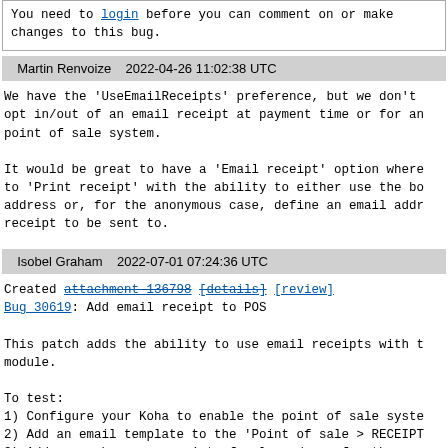You need to login before you can comment on or make changes to this bug.
Martin Renvoize    2022-04-26 11:02:38 UTC
We have the 'UseEmailReceipts' preference, but we don't opt in/out of an email receipt at payment time or for an point of sale system.

It would be great to have a 'Email receipt' option where to 'Print receipt' with the ability to either use the bo address or, for the anonymous case, define an email addr receipt to be sent to.
Isobel Graham    2022-07-01 07:24:36 UTC
Created attachment 136798 [details] [review]
Bug 30619: Add email receipt to POS

This patch adds the ability to use email receipts with t module.

To test:
1) Configure your Koha to enable the point of sale syste
2) Add an email template to the 'Point of sale > RECEIPT
3) Add some charges on point of sale and pay for them.
3a) You should now see a new 'Email receipt' button next receipt' option.
3b) Clicking the button will display a modal to enter th